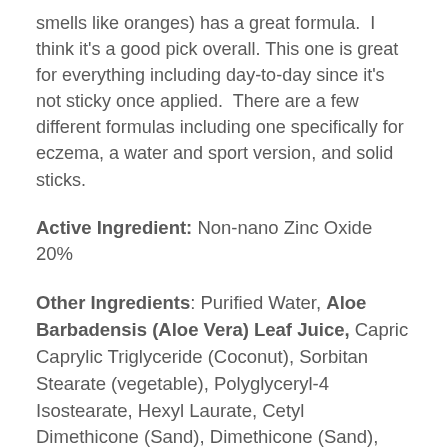smells like oranges) has a great formula.  I think it's a good pick overall. This one is great for everything including day-to-day since it's not sticky once applied.  There are a few different formulas including one specifically for eczema, a water and sport version, and solid sticks.
Active Ingredient: Non-nano Zinc Oxide 20%
Other Ingredients: Purified Water, Aloe Barbadensis (Aloe Vera) Leaf Juice, Capric Caprylic Triglyceride (Coconut), Sorbitan Stearate (vegetable), Polyglyceryl-4 Isostearate, Hexyl Laurate, Cetyl Dimethicone (Sand), Dimethicone (Sand), Castor Oil, Magnesium Sulfate (Epsom